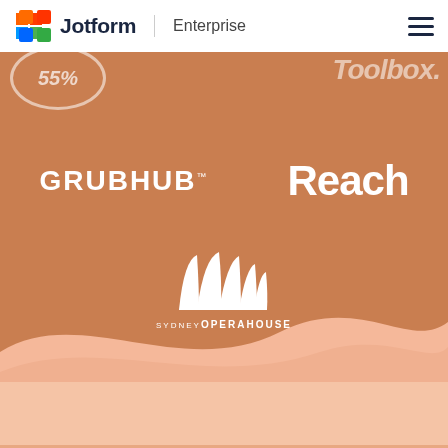Jotform Enterprise
[Figure (logo): Jotform Enterprise logo with colorful icon and hamburger menu]
[Figure (screenshot): Orange branded section showing partner/customer logos: partial logo top-left, 'toolbox' text top-right (partially visible), GRUBHUB trademark logo center-left, Reach logo center-right, Sydney Opera House logo centered at bottom of orange section with wave transition to peach background]